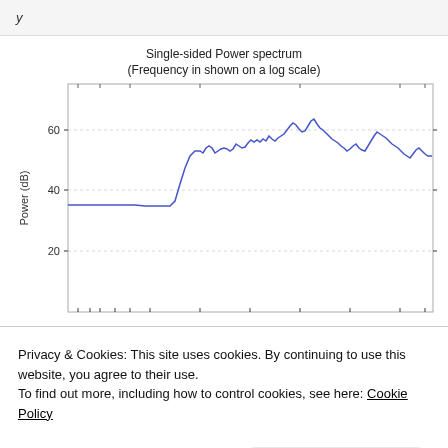y
[Figure (continuous-plot): Single-sided power spectrum plot with frequency on a log scale (x-axis, unlabeled ticks) and power in dB on y-axis (range ~0 to ~75 dB). The blue line starts at ~35 dB for low frequencies, stays flat, then rises sharply around mid-frequency to ~60 dB with oscillations, peaks near 75 dB, then decreases with high variation to ~25 dB at high frequencies.]
Privacy & Cookies: This site uses cookies. By continuing to use this website, you agree to their use.
To find out more, including how to control cookies, see here: Cookie Policy
Close and accept